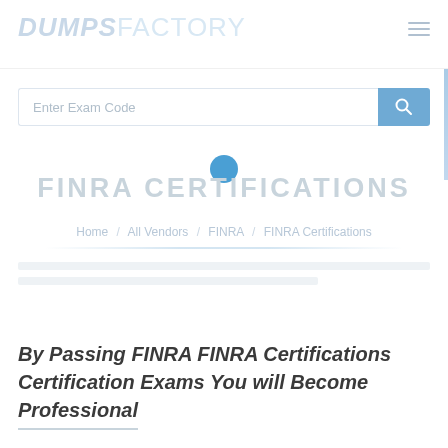DUMPSFACTORY
[Figure (screenshot): Search bar with 'Enter Exam Code' placeholder and blue search button]
FINRA CERTIFICATIONS
Home / All Vendors / FINRA / FINRA Certifications
By Passing FINRA FINRA Certifications Certification Exams You will Become Professional